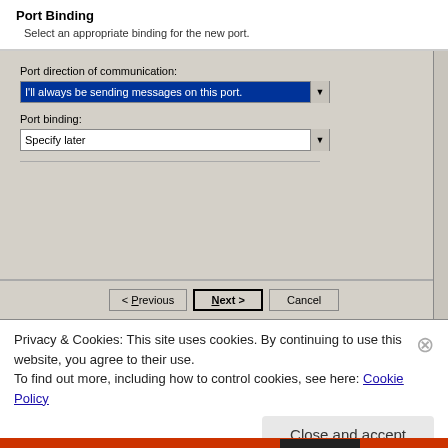Port Binding
Select an appropriate binding for the new port.
Port direction of communication:
[Figure (screenshot): Dropdown menu showing selected option: 'I'll always be sending messages on this port.']
Port binding:
[Figure (screenshot): Dropdown menu showing 'Specify later']
< Previous   Next >   Cancel
Privacy & Cookies: This site uses cookies. By continuing to use this website, you agree to their use.
To find out more, including how to control cookies, see here: Cookie Policy
Close and accept